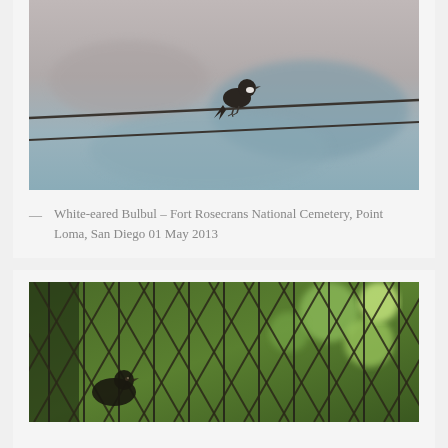[Figure (photo): A White-eared Bulbul bird perched on a wire against a blurred background, photographed at Fort Rosecrans National Cemetery, Point Loma, San Diego on 01 May 2013]
— White-eared Bulbul – Fort Rosecrans National Cemetery, Point Loma, San Diego 01 May 2013
[Figure (photo): A bird photographed through a chain-link fence with green foliage visible in the background]